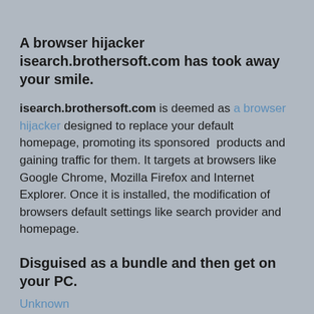A browser hijacker isearch.brothersoft.com has took away your smile.
isearch.brothersoft.com is deemed as a browser hijacker designed to replace your default homepage, promoting its sponsored  products and gaining traffic for them. It targets at browsers like Google Chrome, Mozilla Firefox and Internet Explorer. Once it is installed, the modification of browsers default settings like search provider and homepage.
Disguised as a bundle and then get on your PC.
Unknown
Share
Remove Search-goal.com Browser Hijacker Effectively